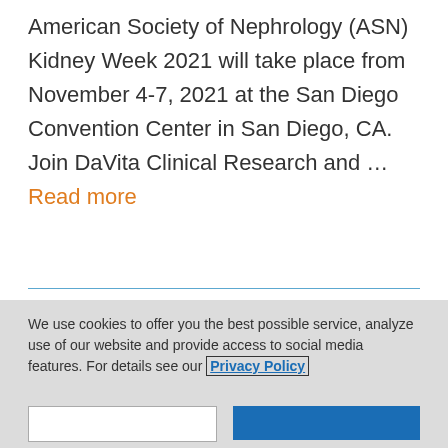American Society of Nephrology (ASN) Kidney Week 2021 will take place from November 4-7, 2021 at the San Diego Convention Center in San Diego, CA. Join DaVita Clinical Research and … Read more
[Figure (illustration): Blue icon of a name badge / ID card with a person silhouette and lines representing text, with a latch at the top.]
We use cookies to offer you the best possible service, analyze use of our website and provide access to social media features. For details see our Privacy Policy